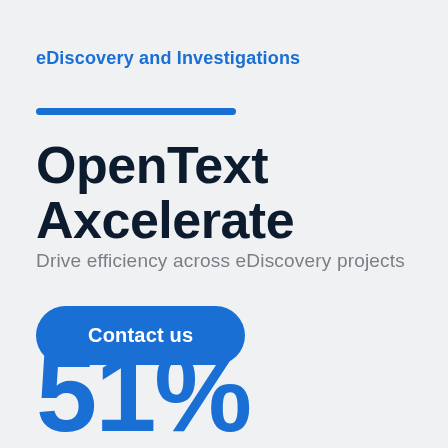eDiscovery and Investigations
OpenText Axcelerate
Drive efficiency across eDiscovery projects
Contact us
51%